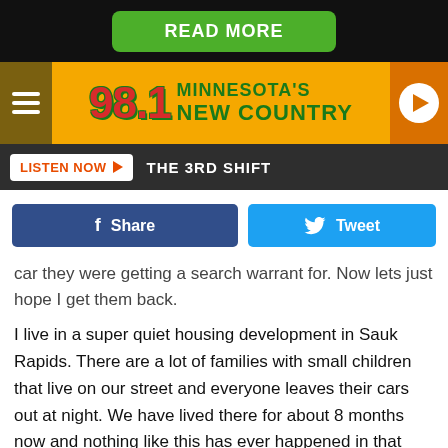[Figure (screenshot): Green 'READ MORE' button on black background]
[Figure (logo): 98.1 Minnesota's New Country radio station header bar with hamburger menu and play button]
[Figure (screenshot): Listen Now button and THE 3RD SHIFT text on dark bar]
[Figure (screenshot): Facebook Share and Twitter Tweet social sharing buttons]
car they were getting a search warrant for. Now lets just hope I get them back.
I live in a super quiet housing development in Sauk Rapids. There are a lot of families with small children that live on our street and everyone leaves their cars out at night. We have lived there for about 8 months now and nothing like this has ever happened in that time. We are considering ourselves lucky that no real damage was done to our vehicles, and that our house wasn't broken into. This experience just proves